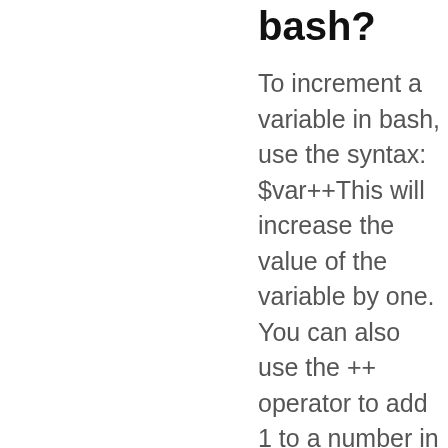bash?
To increment a variable in bash, use the syntax: $var++This will increase the value of the variable by one. You can also use the ++ operator to add 1 to a number in